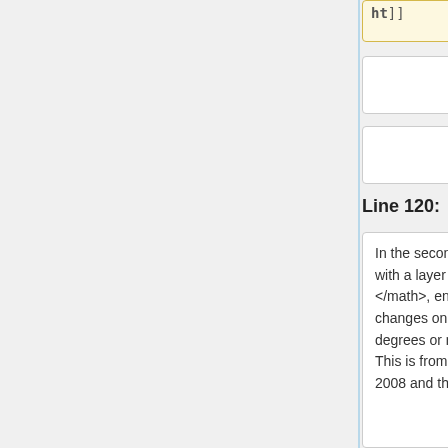ht]]
Line 120:
Line 124:
In the second example of Cytop with a layer of <math>Si_3N_4</math>, enormous contact angle changes on the order of 100 degrees or more with < 15 volts. This is from work published in 2008 and thus represents one
In the second example of Cytop with a layer of <math>Si_3N_4</math>, enormous contact angle changes on the order of 100 degrees or more with < 15 volts. This is from work published in 2008 and thus represents one